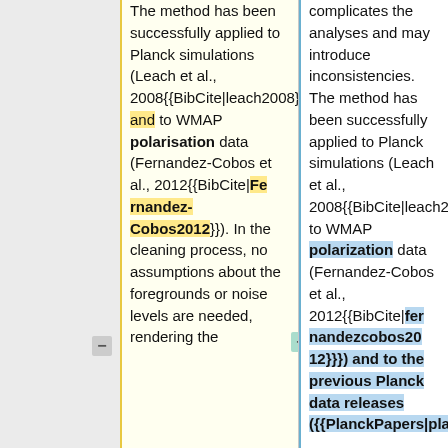The method has been successfully applied to Planck simulations (Leach et al., 2008{{BibCite|leach2008}}) and to WMAP polarisation data (Fernandez-Cobos et al., 2012{{BibCite|Fernandez-Cobos2012}}). In the cleaning process, no assumptions about the foregrounds or noise levels are needed, rendering the
complicates the analyses and may introduce inconsistencies. The method has been successfully applied to Planck simulations (Leach et al., 2008{{BibCite|leach2008}}), to WMAP polarization data (Fernandez-Cobos et al., 2012{{BibCite|fernandezcobos2012}}) and to the previous Planck data releases ({{PlanckPapers|planck2013-